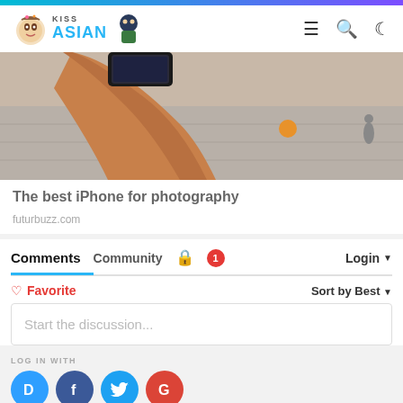KissAsian - navigation header with menu, search, and dark mode icons
[Figure (photo): A hand holding a smartphone up in a street setting, with orange ball and pavement in background]
The best iPhone for photography
futurbuzz.com
Comments  Community  🔒  1  Login ▾
♡ Favorite   Sort by Best ▾
Start the discussion...
LOG IN WITH